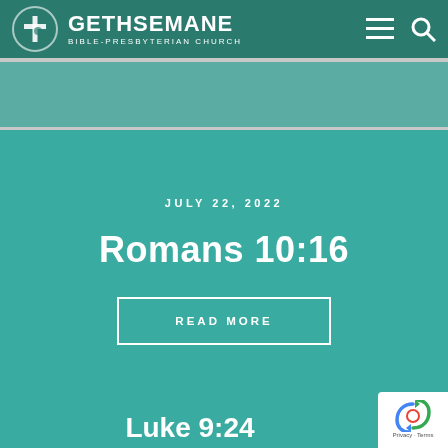GETHSEMANE BIBLE-PRESBYTERIAN CHURCH
JULY 22, 2022
Romans 10:16
READ MORE
JULY 21, 2022
Luke 9:24